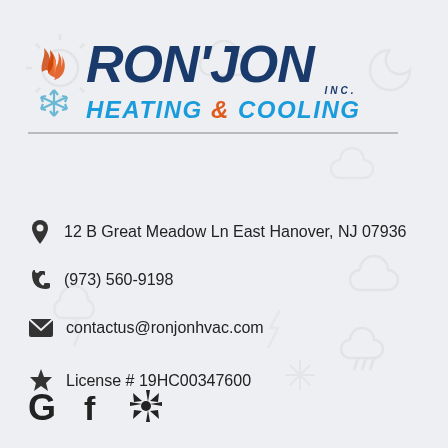[Figure (logo): Ron Jon Inc. Heating & Cooling company logo with flame and snowflake icons]
12 B Great Meadow Ln East Hanover, NJ 07936
(973) 560-9198
contactus@ronjonhvac.com
License # 19HC00347600
[Figure (logo): Google, Facebook, and Yelp social media icons]